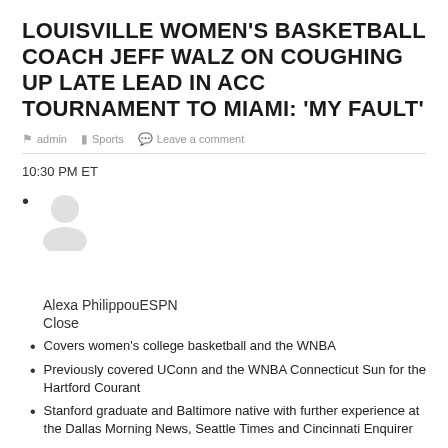LOUISVILLE WOMEN'S BASKETBALL COACH JEFF WALZ ON COUGHING UP LATE LEAD IN ACC TOURNAMENT TO MIAMI: ‘MY FAULT’
admin  Sports  Leave a comment
10:30 PM ET
Alexa PhilippouESPN
Close
Covers women’s college basketball and the WNBA
Previously covered UConn and the WNBA Connecticut Sun for the Hartford Courant
Stanford graduate and Baltimore native with further experience at the Dallas Morning News, Seattle Times and Cincinnati Enquirer